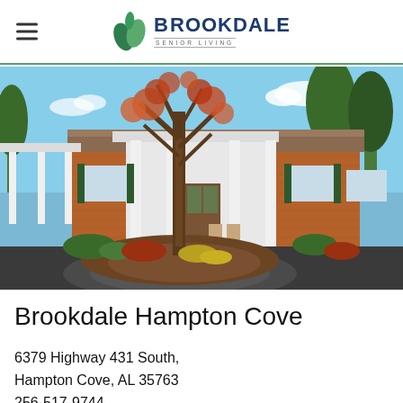Brookdale Senior Living (logo with hamburger menu)
[Figure (photo): Exterior of Brookdale Hampton Cove senior living facility showing a brick building with white columns, covered entrance, rocking chairs on the porch, landscaped circular driveway with a tree, and a blue sky background.]
Brookdale Hampton Cove
6379 Highway 431 South,
Hampton Cove, AL 35763
256-517-9744